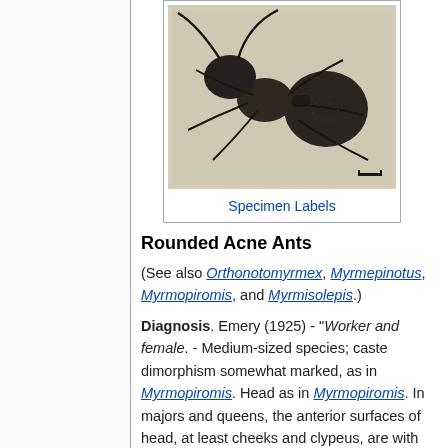[Figure (photo): Dorsal view photograph of a pinned ant specimen (Camponotus-like) on a white label background, showing head, thorax, abdomen, and legs in high detail.]
Specimen Labels
Rounded Acne Ants
(See also Orthonotomyrmex, Myrmepinotus, Myrmopiromis, and Myrmisolepis.)
Diagnosis. Emery (1925) - "Worker and female. - Medium-sized species; caste dimorphism somewhat marked, as in Myrmopiromis. Head as in Myrmopiromis. In majors and queens, the anterior surfaces of head, at least cheeks and clypeus, are with large, integrally punctate foveae which are